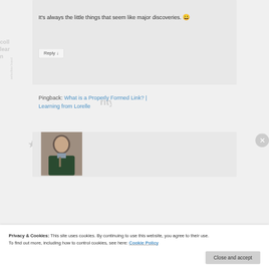It's always the little things that seem like major discoveries. 😀
Reply ↓
Pingback: What is a Properly Formed Link? | Learning from Lorelle
[Figure (photo): Avatar photo of a man in a dark jacket and tie]
Privacy & Cookies: This site uses cookies. By continuing to use this website, you agree to their use.
To find out more, including how to control cookies, see here: Cookie Policy
Close and accept